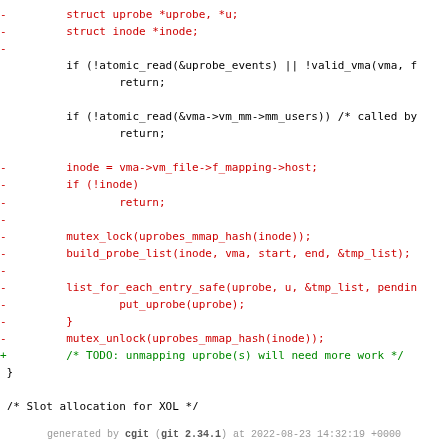[Figure (screenshot): A code diff view showing removed lines (red, prefixed with -) and added lines (green, prefixed with +) from a C source file related to uprobe/inode handling in a Linux kernel patch.]
generated by cgit (git 2.34.1) at 2022-08-23 14:32:19 +0000